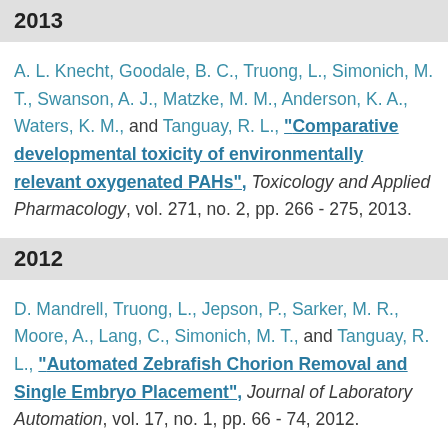2013
A. L. Knecht, Goodale, B. C., Truong, L., Simonich, M. T., Swanson, A. J., Matzke, M. M., Anderson, K. A., Waters, K. M., and Tanguay, R. L., "Comparative developmental toxicity of environmentally relevant oxygenated PAHs", Toxicology and Applied Pharmacology, vol. 271, no. 2, pp. 266 - 275, 2013.
2012
D. Mandrell, Truong, L., Jepson, P., Sarker, M. R., Moore, A., Lang, C., Simonich, M. T., and Tanguay, R. L., "Automated Zebrafish Chorion Removal and Single Embryo Placement", Journal of Laboratory Automation, vol. 17, no. 1, pp. 66 - 74, 2012.